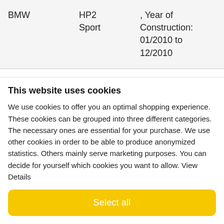| Make | Model | Details |
| --- | --- | --- |
| BMW | HP2 Sport | , Year of Construction: 01/2010 to 12/2010 |
| BMW | HP2 Sport | , Year of Construction: 01/2011 to |
This website uses cookies
We use cookies to offer you an optimal shopping experience. These cookies can be grouped into three different categories. The necessary ones are essential for your purchase. We use other cookies in order to be able to produce anonymized statistics. Others mainly serve marketing purposes. You can decide for yourself which cookies you want to allow. View Details